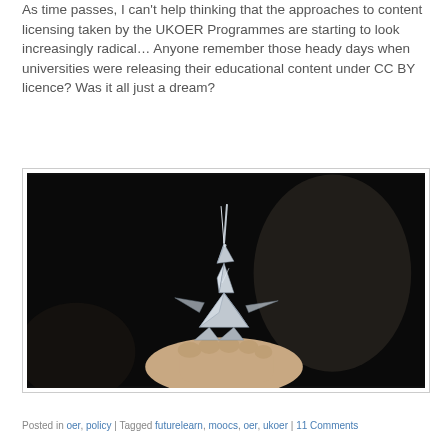As time passes, I can't help thinking that the approaches to content licensing taken by the UKOER Programmes are starting to look increasingly radical... Anyone remember those heady days when universities were releasing their educational content under CC BY licence? Was it all just a dream?
[Figure (photo): A hand holding a small silver origami unicorn figure against a dark background, referencing the Blade Runner origami unicorn scene.]
Posted in oer, policy | Tagged futurelearn, moocs, oer, ukoer | 11 Comments